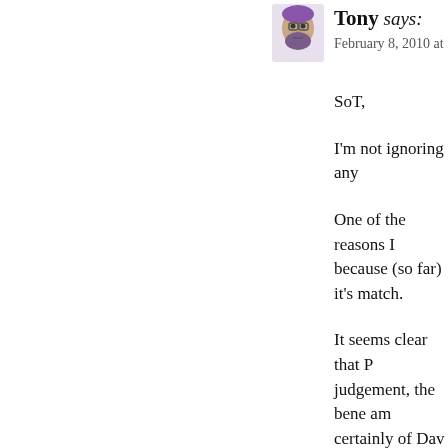[Figure (photo): Small avatar/profile image of user Tony, showing a cartoon-style face with beard and glasses]
Tony says: February 8, 2010 at 11:3
SoT,
I'm not ignoring any
One of the reasons I because (so far) it's match.
It seems clear that P judgement, the bene am certainly of Dav him harshly or that v apply the same view mentioned (there bu
But this is not what